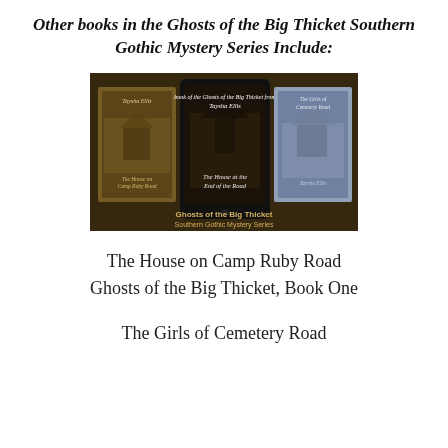Other books in the Ghosts of the Big Thicket Southern Gothic Mystery Series Include:
[Figure (photo): Promotional image showing three book covers for the Ghosts of the Big Thicket Southern Gothic Mystery Series: 'The House on Camp Ruby Road', 'The House at the End of the Road' (center, on tablet), and 'The Girls of Cemetery Road'. Text at bottom reads 'Ghosts of the Big Thicket Southern Gothic Mystery Series'.]
The House on Camp Ruby Road
Ghosts of the Big Thicket, Book One
The Girls of Cemetery Road